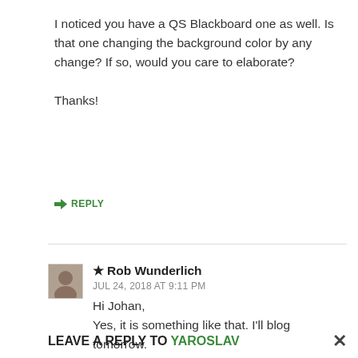I noticed you have a QS Blackboard one as well. Is that one changing the background color by any change? If so, would you care to elaborate?

Thanks!
↳ REPLY
★ Rob Wunderlich
JUL 24, 2018 AT 9:11 PM
Hi Johan,
Yes, it is something like that. I'll blog tomorrow.
↳ REPLY
LEAVE A REPLY TO YAROSLAV ×